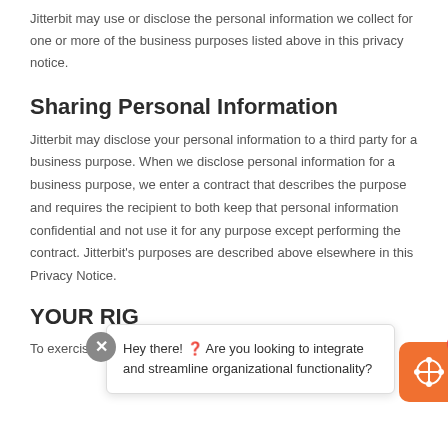Jitterbit may use or disclose the personal information we collect for one or more of the business purposes listed above in this privacy notice.
Sharing Personal Information
Jitterbit may disclose your personal information to a third party for a business purpose. When we disclose personal information for a business purpose, we enter a contract that describes the purpose and requires the recipient to both keep that personal information confidential and not use it for any purpose except performing the contract. Jitterbit's purposes are described above elsewhere in this Privacy Notice.
YOUR RIG
To exercise the access, data portability, and deletion rights